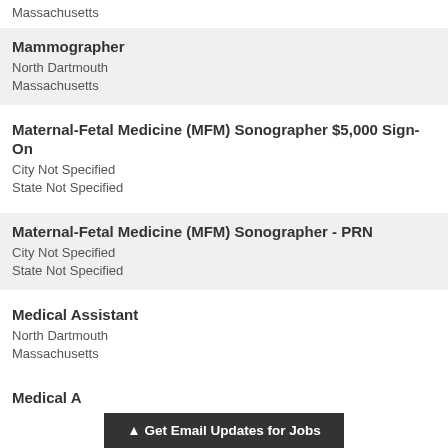Massachusetts
Mammographer
North Dartmouth
Massachusetts
Maternal-Fetal Medicine (MFM) Sonographer $5,000 Sign-On
City Not Specified
State Not Specified
Maternal-Fetal Medicine (MFM) Sonographer - PRN
City Not Specified
State Not Specified
Medical Assistant
North Dartmouth
Massachusetts
Medical A...
▲ Get Email Updates for Jobs